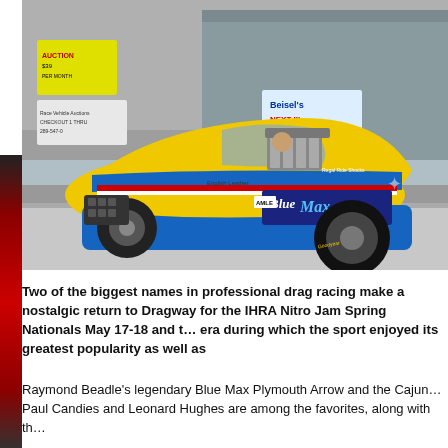[Figure (photo): A yellow and blue funny car (Blue Max Plymouth Arrow) on a drag racing strip. The car has sponsor logos including 'Blue Max', 'English Leather', 'Regal Ride Shocks', 'AMLE', and 'Goodyear'. A large supercharger protrudes from the hood. Sponsor billboards visible in the background including 'Beisel's NEXT III'.]
Two of the biggest names in professional drag racing make a nostalgic return to Dragway for the IHRA Nitro Jam Spring Nationals May 17-18 and to re-live an era during which the sport enjoyed its greatest popularity as well as
Raymond Beadle's legendary Blue Max Plymouth Arrow and the Cajun ... Paul Candies and Leonard Hughes are among the favorites, along with th...